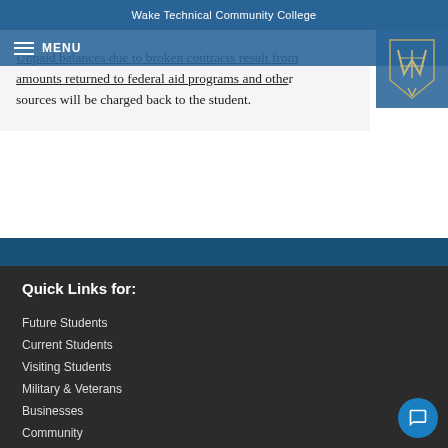Wake Technical Community College
Unpaid balances due to broken contracts result from amounts returned to federal aid programs and other sources will be charged back to the student.
Quick Links for:
Future Students
Current Students
Visiting Students
Military & Veterans
Businesses
Community
Parents
Alumni